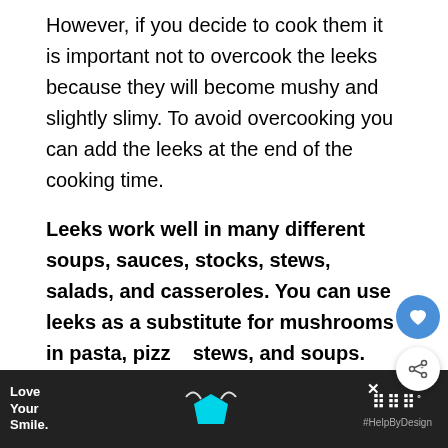However, if you decide to cook them it is important not to overcook the leeks because they will become mushy and slightly slimy. To avoid overcooking you can add the leeks at the end of the cooking time.
Leeks work well in many different soups, sauces, stocks, stews, salads, and casseroles. You can use leeks as a substitute for mushrooms in pasta, pizza, stews, and soups.
[Figure (other): Advertisement banner: 'Love Your Smile.' with a blue pentagon/mask graphic and #HelpByDesign text, on dark background. Close (X) button visible. Brand watermark on right.]